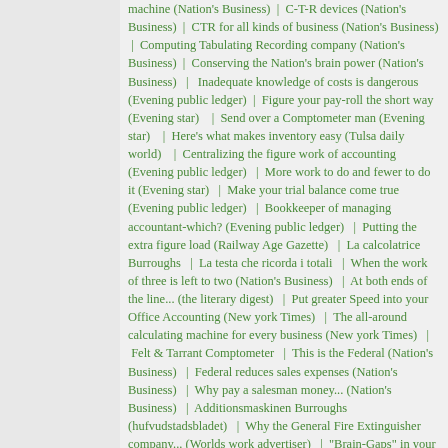machine (Nation's Business) | C-T-R devices (Nation's Business) | CTR for all kinds of business (Nation's Business) | Computing Tabulating Recording company (Nation's Business) | Conserving the Nation's brain power (Nation's Business) | Inadequate knowledge of costs is dangerous (Evening public ledger) | Figure your pay-roll the short way (Evening star) | Send over a Comptometer man (Evening star) | Here's what makes inventory easy (Tulsa daily world) | Centralizing the figure work of accounting (Evening public ledger) | More work to do and fewer to do it (Evening star) | Make your trial balance come true (Evening public ledger) | Bookkeeper of managing accountant-which? (Evening public ledger) | Putting the extra figure load (Railway Age Gazette) | La calcolatrice Burroughs | La testa che ricorda i totali | When the work of three is left to two (Nation's Business) | At both ends of the line... (the literary digest) | Put greater Speed into your Office Accounting (New york Times) | The all-around calculating machine for every business (New york Times) | Felt & Tarrant Comptometer | This is the Federal (Nation's Business) | Federal reduces sales expenses (Nation's Business) | Why pay a salesman money... (Nation's Business) | Additionsmaskinen Burroughs (hufvudstadsbladet) | Why the General Fire Extinguisher company... (Worlds work advertiser) | "Brain-Gaps" in your office waste money (Worlds work advertiser) | Four Machines in One (the literary digest) | The Burroughs, it's